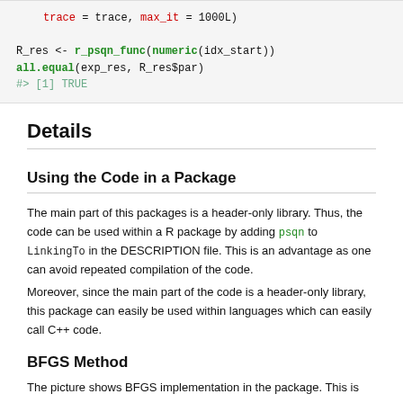[Figure (screenshot): Code block showing R code: trace = trace, max_it = 1000L) on first line, then R_res <- r_psqn_func(numeric(idx_start)) and all.equal(exp_res, R_res$par) with output #> [1] TRUE]
Details
Using the Code in a Package
The main part of this packages is a header-only library. Thus, the code can be used within a R package by adding psqn to LinkingTo in the DESCRIPTION file. This is an advantage as one can avoid repeated compilation of the code.
Moreover, since the main part of the code is a header-only library, this package can easily be used within languages which can easily call C++ code.
BFGS Method
The picture shows BFGS implementation in the package. This is